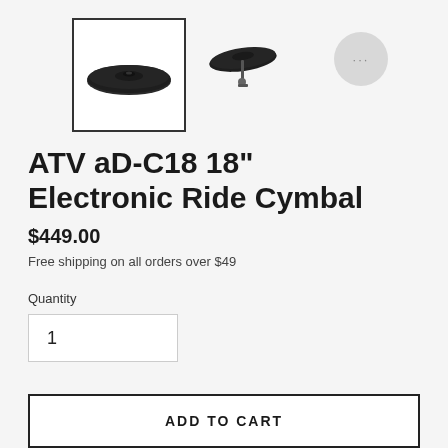[Figure (photo): Two product thumbnail images of the ATV aD-C18 18" Electronic Ride Cymbal. First thumbnail (selected, with border) shows top-down view of black cymbal. Second thumbnail shows side/angled view of the cymbal on a stand. A chat bubble icon (grey circle with three dots) is also visible.]
ATV aD-C18 18" Electronic Ride Cymbal
$449.00
Free shipping on all orders over $49
Quantity
1
ADD TO CART